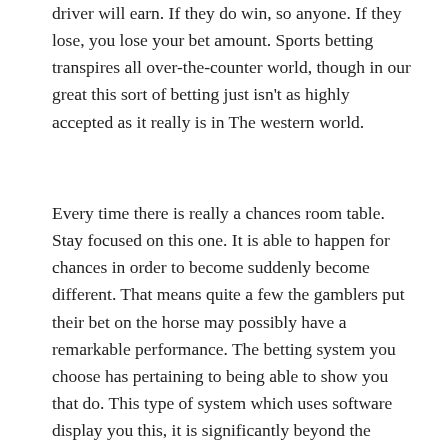driver will earn. If they do win, so anyone. If they lose, you lose your bet amount. Sports betting transpires all over-the-counter world, though in our great this sort of betting just isn't as highly accepted as it really is in The western world.
Every time there is really a chances room table. Stay focused on this one. It is able to happen for chances in order to become suddenly become different. That means quite a few the gamblers put their bet on the horse may possibly have a remarkable performance. The betting system you choose has pertaining to being able to show you that do. This type of system which uses software display you this, it is significantly beyond the systems in manually should calculate until this. It prevents the mistakes in which manually be exercised and you cash in on time.